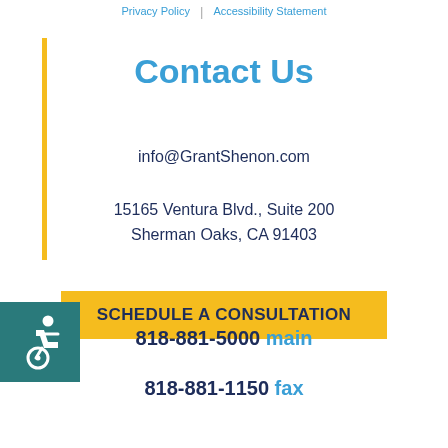Privacy Policy | Accessibility Statement
Contact Us
info@GrantShenon.com
15165 Ventura Blvd., Suite 200
Sherman Oaks, CA 91403
SCHEDULE A CONSULTATION
[Figure (illustration): Accessibility icon — wheelchair user symbol in white on teal square background]
818-881-5000 main
818-881-1150 fax